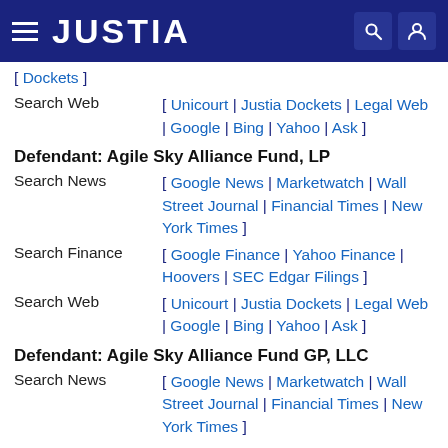JUSTIA
[ Dockets ]
Search Web [ Unicourt | Justia Dockets | Legal Web | Google | Bing | Yahoo | Ask ]
Defendant: Agile Sky Alliance Fund, LP
Search News [ Google News | Marketwatch | Wall Street Journal | Financial Times | New York Times ]
Search Finance [ Google Finance | Yahoo Finance | Hoovers | SEC Edgar Filings ]
Search Web [ Unicourt | Justia Dockets | Legal Web | Google | Bing | Yahoo | Ask ]
Defendant: Agile Sky Alliance Fund GP, LLC
Search News [ Google News | Marketwatch | Wall Street Journal | Financial Times | New York Times ]